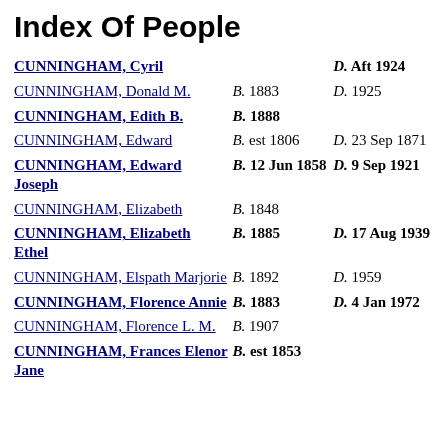Index Of People
| Name | Birth | Death |
| --- | --- | --- |
| CUNNINGHAM, Cyril |  | D. Aft 1924 |
| CUNNINGHAM, Donald M. | B. 1883 | D. 1925 |
| CUNNINGHAM, Edith B. | B. 1888 |  |
| CUNNINGHAM, Edward | B. est 1806 | D. 23 Sep 1871 |
| CUNNINGHAM, Edward Joseph | B. 12 Jun 1858 | D. 9 Sep 1921 |
| CUNNINGHAM, Elizabeth | B. 1848 |  |
| CUNNINGHAM, Elizabeth Ethel | B. 1885 | D. 17 Aug 1939 |
| CUNNINGHAM, Elspath Marjorie | B. 1892 | D. 1959 |
| CUNNINGHAM, Florence Annie | B. 1883 | D. 4 Jan 1972 |
| CUNNINGHAM, Florence L. M. | B. 1907 |  |
| CUNNINGHAM, Frances Elenor Jane | B. est 1853 |  |